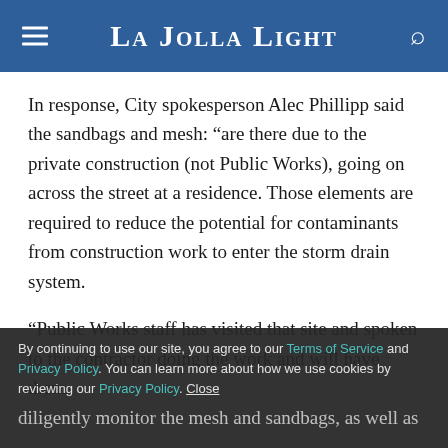La Jolla Light
In response, City spokesperson Alec Phillipp said the sandbags and mesh: “are there due to the private construction (not Public Works), going on across the street at a residence. Those elements are required to reduce the potential for contaminants from construction work to enter the storm drain system.
“Public Works staff has visited that site and spoken to the contractor doing the work and will have them diligently monitor the mesh and sandbags, as well as clean the curb and gutter area.
By continuing to use our site, you agree to our Terms of Service and Privacy Policy. You can learn more about how we use cookies by reviewing our Privacy Policy. Close